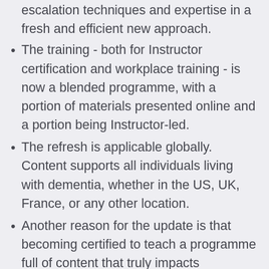escalation techniques and expertise in a fresh and efficient new approach.
The training - both for Instructor certification and workplace training - is now a blended programme, with a portion of materials presented online and a portion being Instructor-led.
The refresh is applicable globally. Content supports all individuals living with dementia, whether in the US, UK, France, or any other location.
Another reason for the update is that becoming certified to teach a programme full of content that truly impacts knowledge and skill can be daunting, and for some it could take a